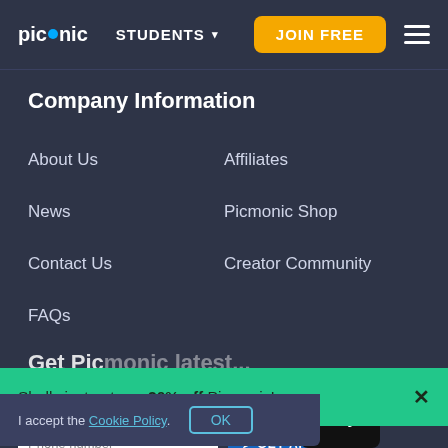picmonic  STUDENTS ▾  JOIN FREE  ≡
Company Information
About Us
Affiliates
News
Picmonic Shop
Contact Us
Creator Community
FAQs
Shelly just got you 20% off Picmonic!
Phone number  ➤ GET APP
I accept the Cookie Policy.  OK